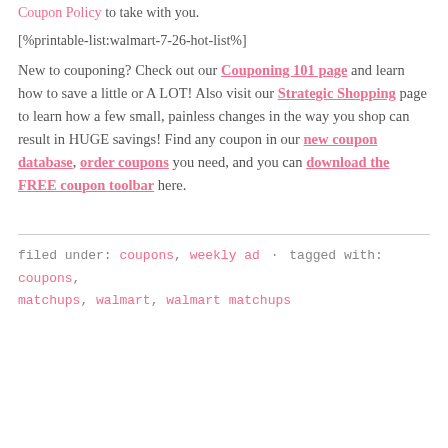Coupon Policy to take with you.
[%printable-list:walmart-7-26-hot-list%]
New to couponing? Check out our Couponing 101 page and learn how to save a little or A LOT! Also visit our Strategic Shopping page to learn how a few small, painless changes in the way you shop can result in HUGE savings! Find any coupon in our new coupon database, order coupons you need, and you can download the FREE coupon toolbar here.
filed under: coupons, weekly ad · tagged with: coupons, matchups, walmart, walmart matchups